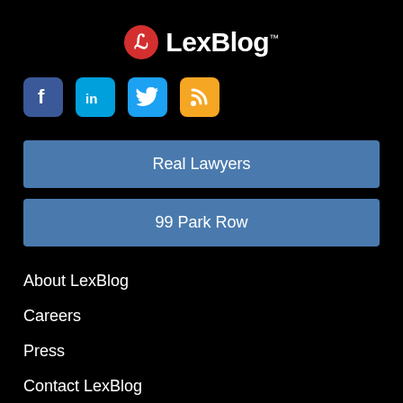[Figure (logo): LexBlog logo with red circle containing white L lettermark and LexBlog wordmark in white with TM superscript]
[Figure (infographic): Social media icons row: Facebook (blue), LinkedIn (cyan), Twitter (cyan), RSS (orange/yellow)]
Real Lawyers
99 Park Row
About LexBlog
Careers
Press
Contact LexBlog
Privacy Policy